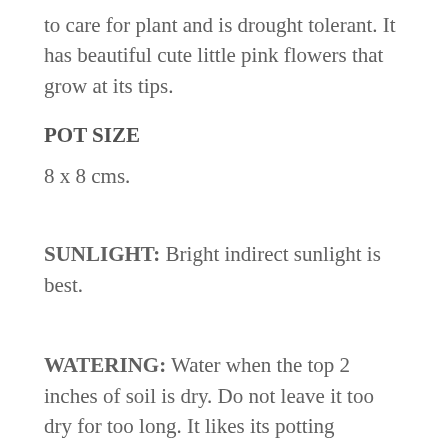to care for plant and is drought tolerant. It has beautiful cute little pink flowers that grow at its tips.
POT SIZE
8 x 8 cms.
SUNLIGHT: Bright indirect sunlight is best.
WATERING: Water when the top 2 inches of soil is dry. Do not leave it too dry for too long. It likes its potting medium to be moist but not